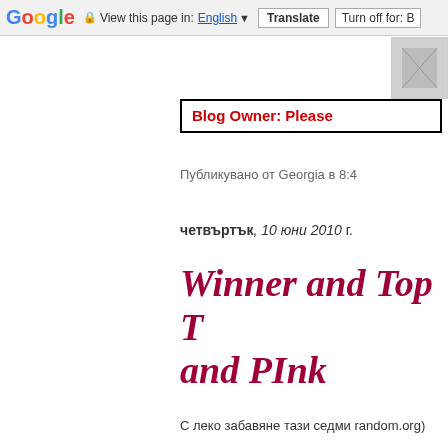Google  View this page in: English  Translate  Turn off for: B
[Figure (screenshot): Small thumbnail image in top-right corner of page]
Blog Owner: Please
Публикувано от Georgia в 8:4
четвъртък, 10 юни 2010 г.
Winner and Top T
and PInk
С леко забавяне тази седми random.org)